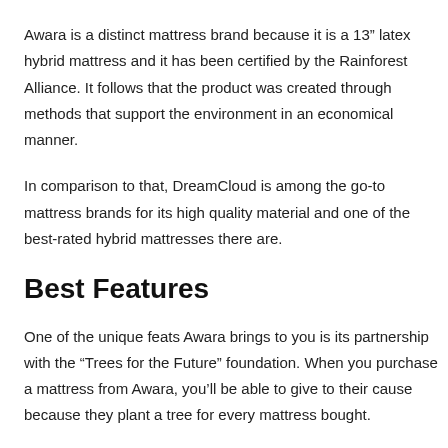Awara is a distinct mattress brand because it is a 13" latex hybrid mattress and it has been certified by the Rainforest Alliance. It follows that the product was created through methods that support the environment in an economical manner.
In comparison to that, DreamCloud is among the go-to mattress brands for its high quality material and one of the best-rated hybrid mattresses there are.
Best Features
One of the unique feats Awara brings to you is its partnership with the “Trees for the Future” foundation. When you purchase a mattress from Awara, you’ll be able to give to their cause because they plant a tree for every mattress bought.
What makes the Awara mattress interesting is that its latex foam is